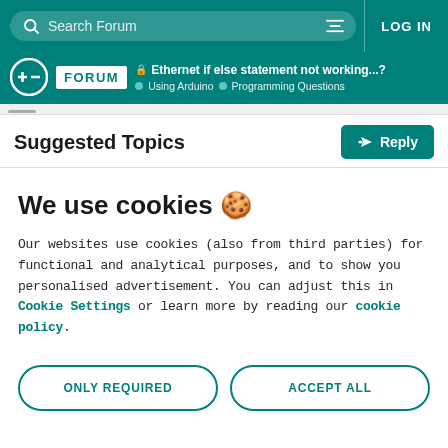Search Forum | LOG IN
🔒 Ethernet if else statement not working...? | Using Arduino > Programming Questions
Suggested Topics
We use cookies 🍪
Our websites use cookies (also from third parties) for functional and analytical purposes, and to show you personalised advertisement. You can adjust this in Cookie Settings or learn more by reading our cookie policy.
ONLY REQUIRED | ACCEPT ALL